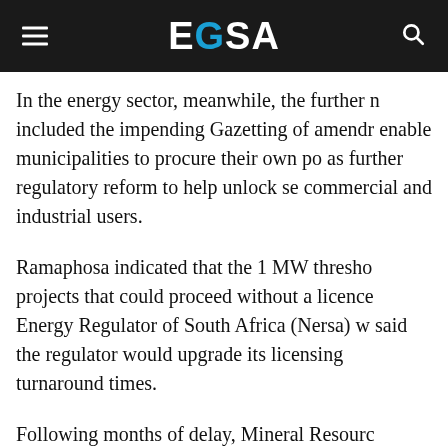EGSA
In the energy sector, meanwhile, the further news included the impending Gazetting of amendments to enable municipalities to procure their own power, as well as further regulatory reform to help unlock self-generation for commercial and industrial users.
Ramaphosa indicated that the 1 MW threshold for projects that could proceed without a licence from the National Energy Regulator of South Africa (Nersa) would be raised. He also said the regulator would upgrade its licensing systems to improve turnaround times.
Following months of delay, Mineral Resources and…